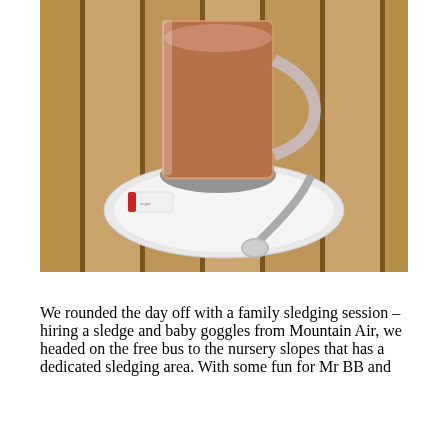[Figure (photo): A glass mug of hot chocolate on a white saucer with a metal spoon resting on the saucer, placed on a wooden slatted table outdoors. A sugar packet is visible on the saucer.]
We rounded the day off with a family sledging session – hiring a sledge and baby goggles from Mountain Air, we headed on the free bus to the nursery slopes that has a dedicated sledging area. With some fun for Mr BB and